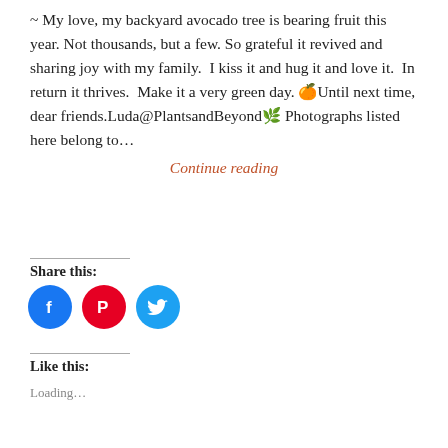~ My love, my backyard avocado tree is bearing fruit this year. Not thousands, but a few. So grateful it revived and sharing joy with my family.  I kiss it and hug it and love it.  In return it thrives.  Make it a very green day. 🍊Until next time, dear friends.Luda@PlantsandBeyond🌿 Photographs listed here belong to…
Continue reading
Share this:
[Figure (infographic): Three social media share buttons: Facebook (blue circle with f icon), Pinterest (red circle with P icon), Twitter (cyan circle with bird icon)]
Like this:
Loading…